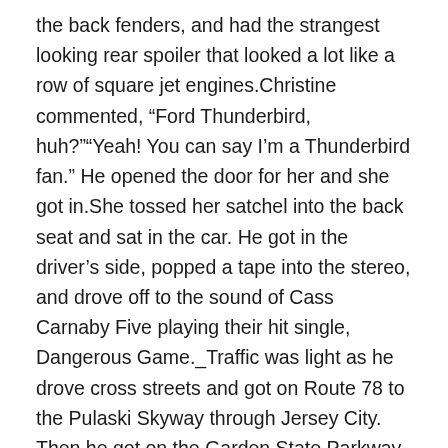the back fenders, and had the strangest looking rear spoiler that looked a lot like a row of square jet engines.Christine commented, “Ford Thunderbird, huh?”“Yeah! You can say I’m a Thunderbird fan.” He opened the door for her and she got in.She tossed her satchel into the back seat and sat in the car. He got in the driver’s side, popped a tape into the stereo, and drove off to the sound of Cass Carnaby Five playing their hit single, Dangerous Game._Traffic was light as he drove cross streets and got on Route 78 to the Pulaski Skyway through Jersey City. Then he got on the Garden State Parkway and headed north.“How far is your house from here?” she asked.“We’re almost to the danger zone,” he answered.“Almost there, you mean?”“F.A.B.” he answered.A few minutes later, he got off the Parkway into a klasbahis yeni giriş residential area. He turned into a development of small houses and after a bit of meandering, turned into a driveway and pulled into a garage next to another old Ford Thunderbird, numbered “1.” Thunderbird 1